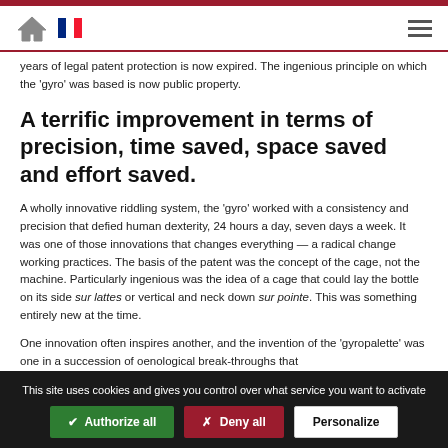Navigation bar with home icon, French flag, and hamburger menu
years of legal patent protection is now expired. The ingenious principle on which the 'gyro' was based is now public property.
A terrific improvement in terms of precision, time saved, space saved and effort saved.
A wholly innovative riddling system, the 'gyro' worked with a consistency and precision that defied human dexterity, 24 hours a day, seven days a week. It was one of those innovations that changes everything — a radical change working practices. The basis of the patent was the concept of the cage, not the machine. Particularly ingenious was the idea of a cage that could lay the bottle on its side sur lattes or vertical and neck down sur pointe. This was something entirely new at the time.
One innovation often inspires another, and the invention of the 'gyropalette' was one in a succession of oenological break-throughs that
This site uses cookies and gives you control over what service you want to activate